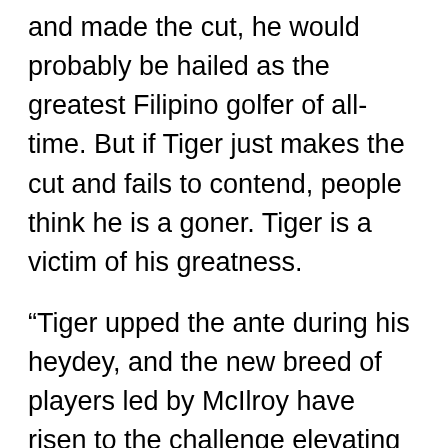and made the cut, he would probably be hailed as the greatest Filipino golfer of all-time. But if Tiger just makes the cut and fails to contend, people think he is a goner. Tiger is a victim of his greatness.
“Tiger upped the ante during his heydey, and the new breed of players led by McIlroy have risen to the challenge elevating their games to that level. At 36 years old and with new young and fearless competition, Tiger will never dominate like he once did but that doesn’t mean he will not win